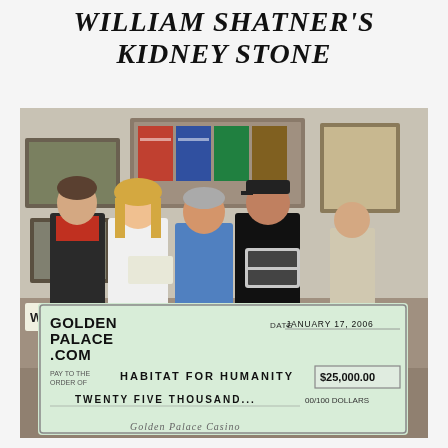WILLIAM SHATNER'S KIDNEY STONE
[Figure (photo): Four people posing together in a room decorated with framed posters and photos on the wall. Two women and two men, one holding what appears to be a small silver case, another holding a paper. In front of them is a large novelty check from GoldenPalace.com dated January 17, 2006, made out to Habitat for Humanity for $25,000.00 (Twenty Five Thousand Dollars).]